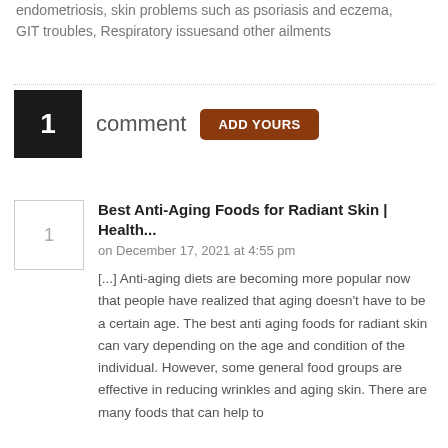endometriosis, skin problems such as psoriasis and eczema, GIT troubles, Respiratory issuesand other ailments
1 comment  ADD YOURS
Best Anti-Aging Foods for Radiant Skin | Health...
on December 17, 2021 at 4:55 pm
[...] Anti-aging diets are becoming more popular now that people have realized that aging doesn't have to be a certain age. The best anti aging foods for radiant skin can vary depending on the age and condition of the individual. However, some general food groups are effective in reducing wrinkles and aging skin. There are many foods that can help to